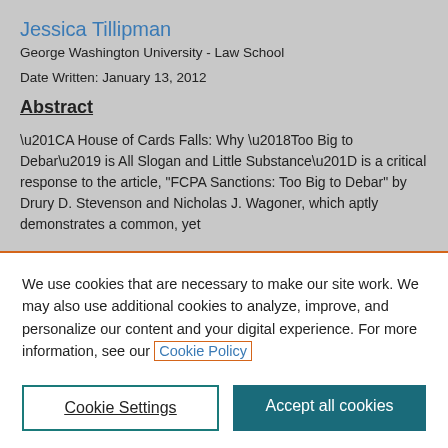Jessica Tillipman
George Washington University - Law School
Date Written: January 13, 2012
Abstract
“A House of Cards Falls: Why ‘Too Big to Debar’ is All Slogan and Little Substance” is a critical response to the article, “FCPA Sanctions: Too Big to Debar” by Drury D. Stevenson and Nicholas J. Wagoner, which aptly demonstrates a common, yet
We use cookies that are necessary to make our site work. We may also use additional cookies to analyze, improve, and personalize our content and your digital experience. For more information, see our Cookie Policy
Cookie Settings
Accept all cookies